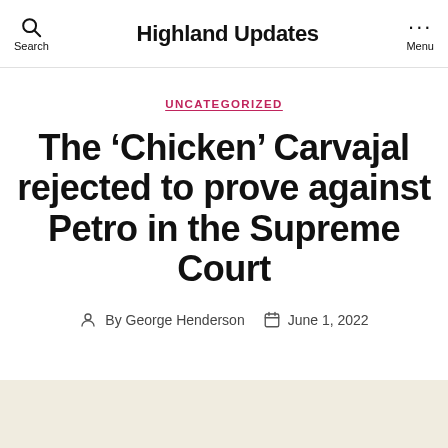Highland Updates
UNCATEGORIZED
The ‘Chicken’ Carvajal rejected to prove against Petro in the Supreme Court
By George Henderson  June 1, 2022